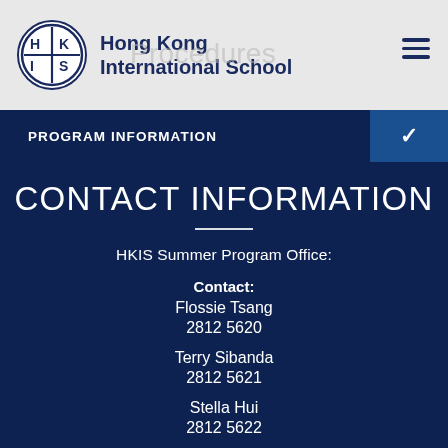Hong Kong International School
PROGRAM INFORMATION
CONTACT INFORMATION
HKIS Summer Program Office:
Contact:
Flossie Tsang
2812 5620
Terry Sibanda
2812 5621
Stella Hui
2812 5622